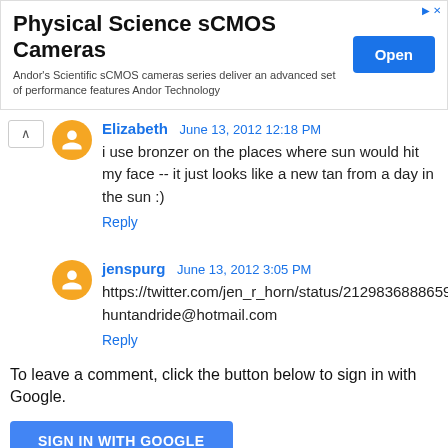[Figure (other): Advertisement banner for Physical Science sCMOS Cameras by Andor Technology with an Open button]
Elizabeth June 13, 2012 12:18 PM
i use bronzer on the places where sun would hit my face -- it just looks like a new tan from a day in the sun :)
Reply
jenspurg June 13, 2012 3:05 PM
https://twitter.com/jen_r_horn/status/212983688865959936
huntandride@hotmail.com
Reply
To leave a comment, click the button below to sign in with Google.
SIGN IN WITH GOOGLE